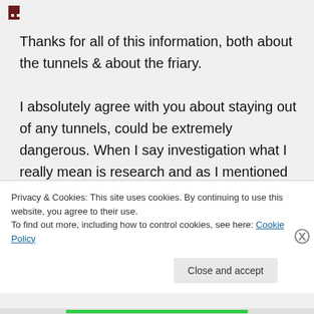[Figure (other): Small pixel-art avatar icon in dark red/maroon color]
Thanks for all of this information, both about the tunnels & about the friary.

I absolutely agree with you about staying out of any tunnels, could be extremely dangerous. When I say investigation what I really mean is research and as I mentioned to someone else maybe trying to pull together some sort of map with all of the information that's emerged so far would be
Privacy & Cookies: This site uses cookies. By continuing to use this website, you agree to their use.
To find out more, including how to control cookies, see here: Cookie Policy